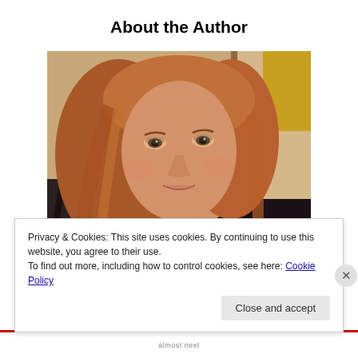About the Author
[Figure (photo): Portrait photo of a woman with long reddish-blonde hair, wearing a dark top, photographed indoors]
Privacy & Cookies: This site uses cookies. By continuing to use this website, you agree to their use.
To find out more, including how to control cookies, see here: Cookie Policy